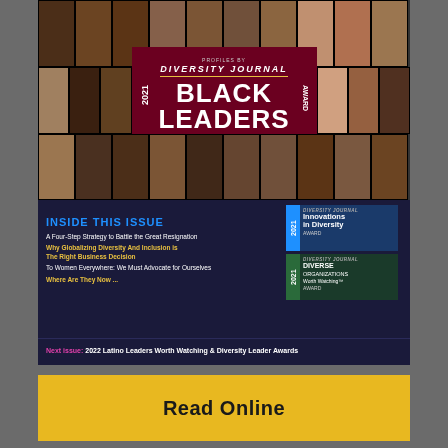[Figure (photo): Diversity Journal 2021 Black Leaders Worth Watching Award - cover image with photo grid of honorees and center badge]
INSIDE THIS ISSUE
A Four-Step Strategy to Battle the Great Resignation
Why Globalizing Diversity And Inclusion is The Right Business Decision
To Women Everywhere: We Must Advocate for Ourselves
Where Are They Now ...
[Figure (logo): 2021 Diversity Journal Innovations in Diversity Award badge]
[Figure (logo): 2021 Diversity Journal Diverse Organizations Worth Watching Award badge]
Next issue: 2022 Latino Leaders Worth Watching & Diversity Leader Awards
Read Online